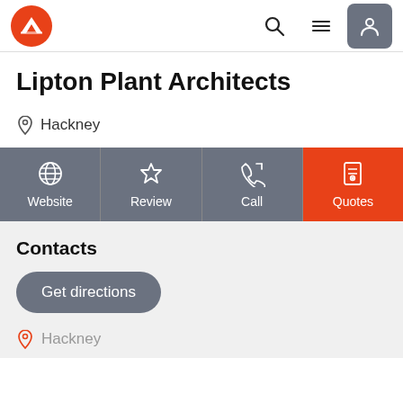Lipton Plant Architects – navigation header with logo, search, menu, and user icons
Lipton Plant Architects
Hackney
[Figure (screenshot): Action button bar with four buttons: Website (globe icon), Review (star icon), Call (phone icon), Quotes (document icon, orange background)]
Contacts
Get directions
Hackney